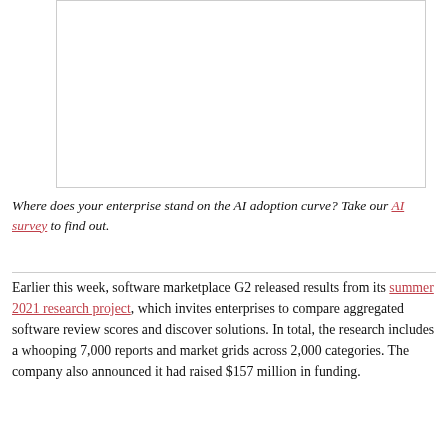[Figure (other): Empty white box with border, likely placeholder for an image or chart]
Where does your enterprise stand on the AI adoption curve? Take our AI survey to find out.
Earlier this week, software marketplace G2 released results from its summer 2021 research project, which invites enterprises to compare aggregated software review scores and discover solutions. In total, the research includes a whooping 7,000 reports and market grids across 2,000 categories. The company also announced it had raised $157 million in funding.